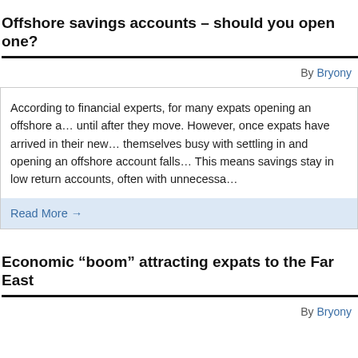Offshore savings accounts – should you open one?
By Bryony
According to financial experts, for many expats opening an offshore a… until after they move. However, once expats have arrived in their new… themselves busy with settling in and opening an offshore account falls… This means savings stay in low return accounts, often with unnecessa…
Read More →
Economic “boom” attracting expats to the Far East
By Bryony